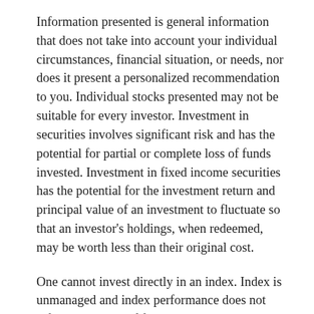Information presented is general information that does not take into account your individual circumstances, financial situation, or needs, nor does it present a personalized recommendation to you. Individual stocks presented may not be suitable for every investor. Investment in securities involves significant risk and has the potential for partial or complete loss of funds invested. Investment in fixed income securities has the potential for the investment return and principal value of an investment to fluctuate so that an investor's holdings, when redeemed, may be worth less than their original cost.
One cannot invest directly in an index. Index is unmanaged and index performance does not reflect deduction of fees, expenses, or taxes. Presentation of Index data does not reflect a belief by Navellier that any stock index constitutes an investment alternative